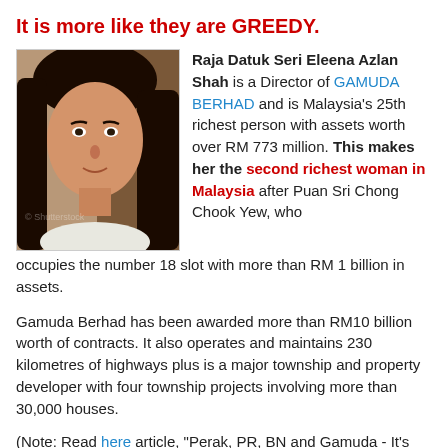It is more like they are GREEDY.
[Figure (photo): Portrait photo of Raja Datuk Seri Eleena Azlan Shah, a woman with dark hair wearing a white outfit]
Raja Datuk Seri Eleena Azlan Shah is a Director of GAMUDA BERHAD and is Malaysia's 25th richest person with assets worth over RM 773 million. This makes her the second richest woman in Malaysia after Puan Sri Chong Chook Yew, who occupies the number 18 slot with more than RM 1 billion in assets.
Gamuda Berhad has been awarded more than RM10 billion worth of contracts. It also operates and maintains 230 kilometres of highways plus is a major township and property developer with four township projects involving more than 30,000 houses.
(Note: Read here article, "Perak, PR, BN and Gamuda - It's